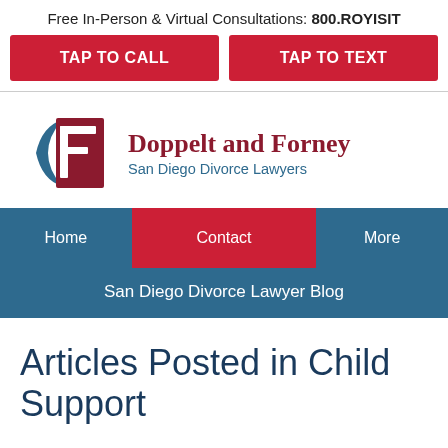Free In-Person & Virtual Consultations: 800.ROYISIT
TAP TO CALL
TAP TO TEXT
[Figure (logo): Doppelt and Forney law firm logo with DF monogram in blue and red, firm name in red serif font, tagline 'San Diego Divorce Lawyers' in blue]
Home
Contact
More
San Diego Divorce Lawyer Blog
Articles Posted in Child Support